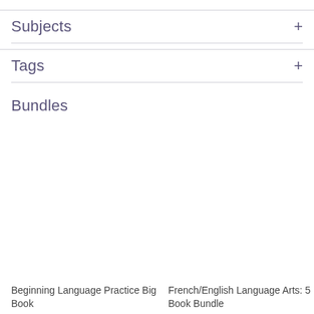Subjects +
Tags +
Bundles
Beginning Language Practice Big Book
French/English Language Arts: 5 Book Bundle